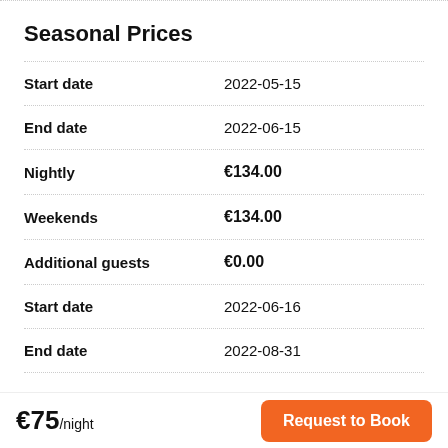Seasonal Prices
| Field | Value |
| --- | --- |
| Start date | 2022-05-15 |
| End date | 2022-06-15 |
| Nightly | €134.00 |
| Weekends | €134.00 |
| Additional guests | €0.00 |
| Start date | 2022-06-16 |
| End date | 2022-08-31 |
€75/night  Request to Book